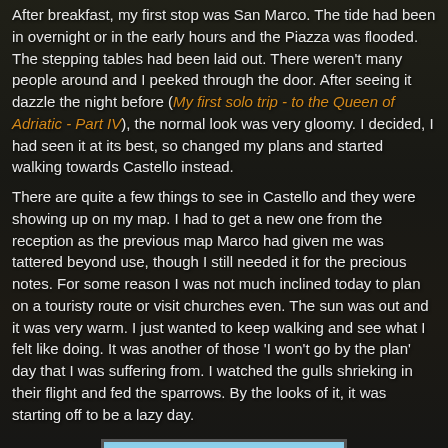After breakfast, my first stop was San Marco. The tide had been in overnight or in the early hours and the Piazza was flooded. The stepping tables had been laid out. There weren't many people around and I peeked through the door. After seeing it dazzle the night before (My first solo trip - to the Queen of Adriatic - Part IV), the normal look was very gloomy. I decided, I had seen it at its best, so changed my plans and started walking towards Castello instead.
There are quite a few things to see in Castello and they were showing up on my map. I had to get a new one from the reception as the previous map Marco had given me was tattered beyond use, though I still needed it for the precious notes. For some reason I was not much inclined today to plan on a touristy route or visit churches even. The sun was out and it was very warm. I just wanted to keep walking and see what I felt like doing. It was another of those 'I won't go by the plan' day that I was suffering from. I watched the gulls shrieking in their flight and fed the sparrows. By the looks of it, it was starting off to be a lazy day.
[Figure (photo): A photograph showing a church or cathedral with a distinctive dome or tower visible against a light blue sky, taken from a distance.]